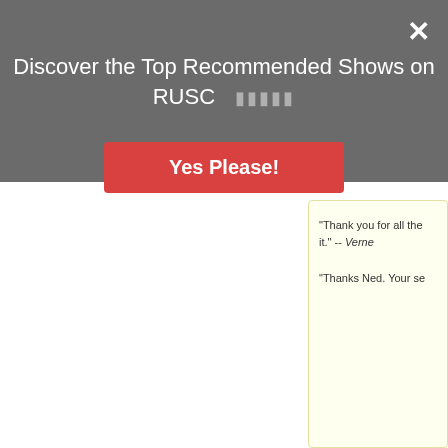Discover the Top Recommended Shows on RUSC  🟫🟫🟫🟫🟫
Yes Please!
"Thank you for all the... it." -- Verne
"Thanks Ned. Your se...